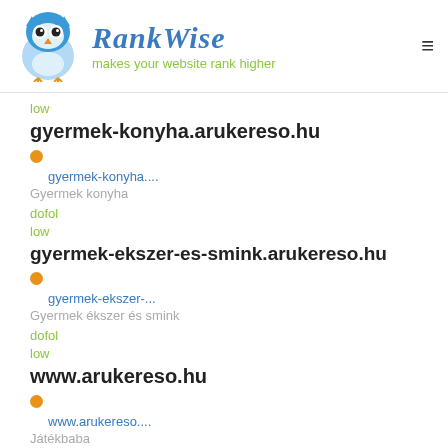RankWise — makes your website rank higher
low
gyermek-konyha.arukereso.hu
gyermek-konyha....
Gyermek konyha
dofol
low
gyermek-ekszer-es-smink.arukereso.hu
gyermek-ekszer-...
Gyermek ékszer és smink
dofol
low
www.arukereso.hu
www.arukereso....
Játékbaba